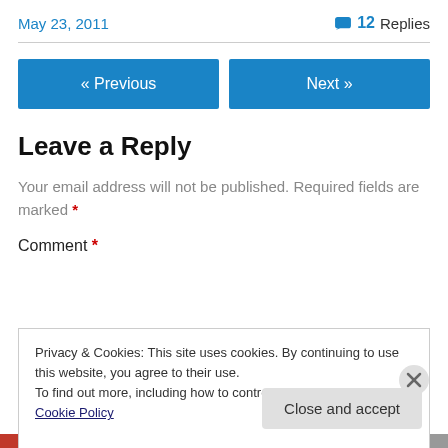May 23, 2011   💬 12 Replies
« Previous   Next »
Leave a Reply
Your email address will not be published. Required fields are marked *
Comment *
Privacy & Cookies: This site uses cookies. By continuing to use this website, you agree to their use.
To find out more, including how to control cookies, see here: Cookie Policy
Close and accept